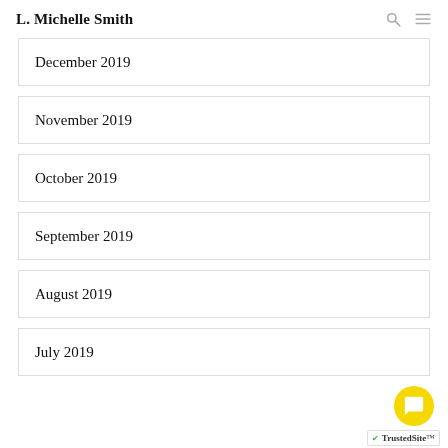L. Michelle Smith
December 2019
November 2019
October 2019
September 2019
August 2019
July 2019